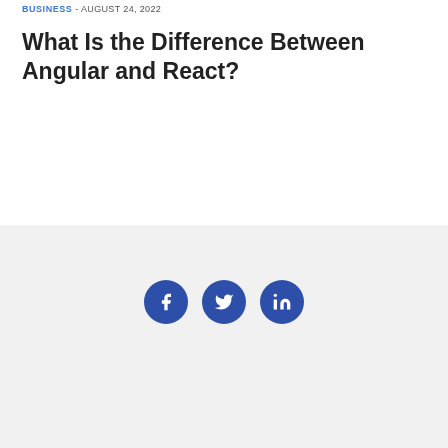BUSINESS - AUGUST 24, 2022
What Is the Difference Between Angular and React?
[Figure (infographic): Social media icons: Facebook, Twitter, LinkedIn — white icons on dark blue circular backgrounds]
PRIVACY POLICY   COOKIE POLICY   SERVICE AGREEMENT   CONTACT